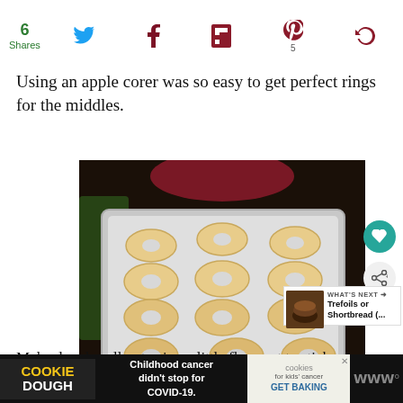6 Shares [social icons: Twitter, Facebook, Flipboard, Pinterest (5), Other]
Using an apple corer was so easy to get perfect rings for the middles.
[Figure (photo): A silver baking tray with ring-shaped cookie/donut dough pieces arranged in rows on a dark background with a red/green cloth visible.]
Make dough, roll out using a little flour not to stick
[Figure (infographic): Ad banner: COOKIE DOUGH logo, 'Childhood cancer didn't stop for COVID-19.', cookies for kids' cancer GET BAKING]